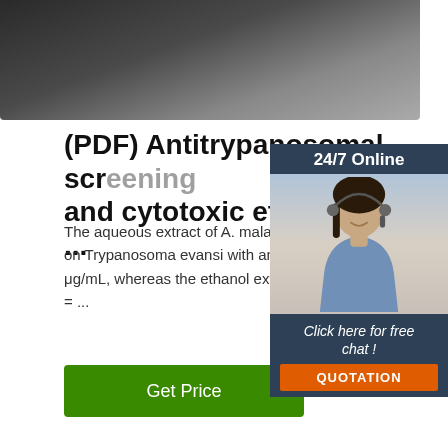[Figure (photo): Dark wood-grain surface photo at top of page]
(PDF) Antitrypanosomal screening and cytotoxic effects of ...
The aqueous extract of A. malaccensis leaves w... on Trypanosoma evansi with an IC 50 value 36.2 μg/mL, whereas the ethanol extract was relativel... = ...
[Figure (photo): Green 'Get Price' button]
[Figure (infographic): 24/7 Online advertisement panel with customer service representative photo, 'Click here for free chat!' text, and orange QUOTATION button]
[Figure (photo): Light gray circular powder/material photo at bottom center]
[Figure (logo): TOP logo with orange dots forming a house/triangle shape and orange TOP text]